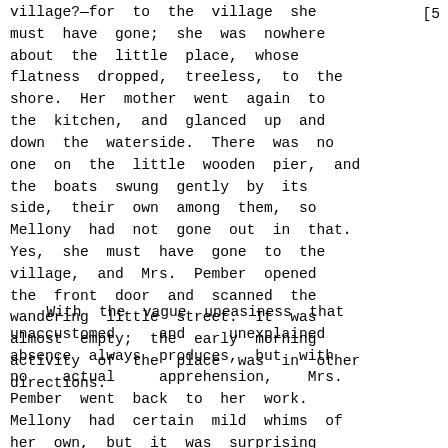village?—for to the village she must have gone; she was nowhere [5 about the little place, whose flatness dropped, treeless, to the shore. Her mother went again to the kitchen, and glanced up and down the waterside. There was no one on the little wooden pier, and the boats swung gently by its side, their own among them, so Mellony had not gone out in that. Yes, she must have gone to the village, and Mrs. Pember opened the front door and scanned the wandering little street. It was almost empty; the early morning activity of the place was in other directions.
With the vague uneasiness that unaccustomed and unexplained absence always produces, but with no actual apprehension, Mrs. Pember went back to her work. Mellony had certain mild whims of her own, but it was surprising